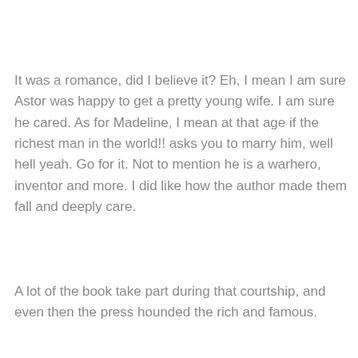It was a romance, did I believe it? Eh, I mean I am sure Astor was happy to get a pretty young wife. I am sure he cared. As for Madeline, I mean at that age if the richest man in the world!! asks you to marry him, well hell yeah. Go for it. Not to mention he is a warhero, inventor and more. I did like how the author made them fall and deeply care.
A lot of the book take part during that courtship, and even then the press hounded the rich and famous.